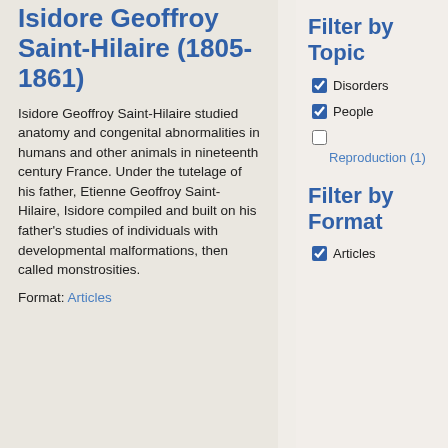Isidore Geoffroy Saint-Hilaire (1805-1861)
Isidore Geoffroy Saint-Hilaire studied anatomy and congenital abnormalities in humans and other animals in nineteenth century France. Under the tutelage of his father, Etienne Geoffroy Saint-Hilaire, Isidore compiled and built on his father's studies of individuals with developmental malformations, then called monstrosities.
Format: Articles
Filter by Topic
Disorders (checked)
People (checked)
Reproduction (1) (unchecked)
Filter by Format
Articles (checked)